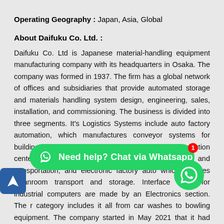Operating Geography : Japan, Asia, Global
About Daifuku Co. Ltd. :
Daifuku Co. Ltd is Japanese material-handling equipment manufacturing company with its headquarters in Osaka. The company was formed in 1937. The firm has a global network of offices and subsidiaries that provide automated storage and materials handling system design, engineering, sales, installation, and commissioning. The business is divided into three segments. It's Logistics Systems include auto factory automation, which manufactures conveyor systems for building automobiles; factory and distribution center systems for sorting, storing, packing, and transportation; and electronic factory automation, which includes cleanroom transport and storage. Interface cards for industrial computers are made by an Electronics section. The r category includes it all from car washes to bowling equipment. The company started in May 2021 that it had retained